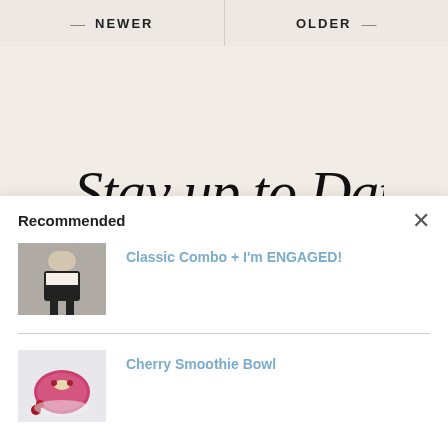NEWER | OLDER
[Figure (illustration): Cursive script text reading 'Stay up to Date' on a warm beige background]
Recommended
[Figure (photo): Woman in black and white outfit standing against a wall]
Classic Combo + I'm ENGAGED!
[Figure (photo): Cherry smoothie bowl with toppings and cherries on a white surface]
Cherry Smoothie Bowl